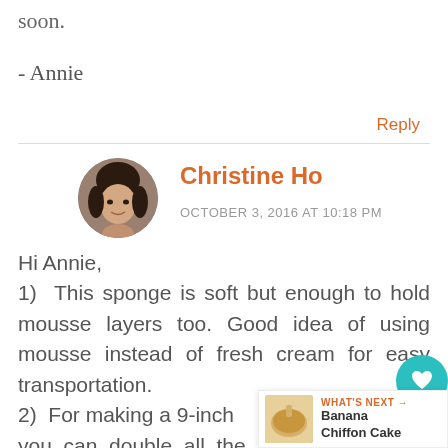soon.
- Annie
Reply
Christine Ho
OCTOBER 3, 2016 AT 10:18 PM
[Figure (photo): Circular avatar photo of Christine Ho, a woman with dark hair]
Hi Annie,
1) This sponge is soft but enough to hold mousse layers too. Good idea of using mousse instead of fresh cream for easy transportation.
2) For making a 9-inch you can double all the
[Figure (photo): Thumbnail image of Banana Chiffon Cake]
WHAT'S NEXT → Banana Chiffon Cake